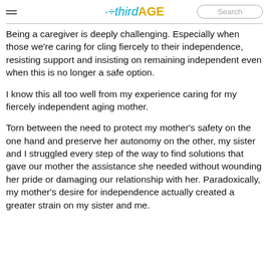thirdAGE
Being a caregiver is deeply challenging. Especially when those we're caring for cling fiercely to their independence, resisting support and insisting on remaining independent even when this is no longer a safe option.
I know this all too well from my experience caring for my fiercely independent aging mother.
Torn between the need to protect my mother's safety on the one hand and preserve her autonomy on the other, my sister and I struggled every step of the way to find solutions that gave our mother the assistance she needed without wounding her pride or damaging our relationship with her. Paradoxically, my mother's desire for independence actually created a greater strain on my sister and me.